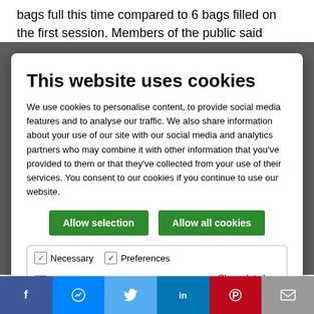bags full this time compared to 6 bags filled on the first session. Members of the public said...
This website uses cookies
We use cookies to personalise content, to provide social media features and to analyse our traffic. We also share information about your use of our site with our social media and analytics partners who may combine it with other information that you've provided to them or that they've collected from your use of their services. You consent to our cookies if you continue to use our website.
[Figure (screenshot): Cookie consent modal with Allow selection and Allow all cookies buttons, and checkboxes for Necessary, Preferences, Statistics, Marketing]
[Figure (photo): Green rubbish/bin bags piled on grass]
Facebook Messenger Twitter LinkedIn Pinterest Email social share buttons